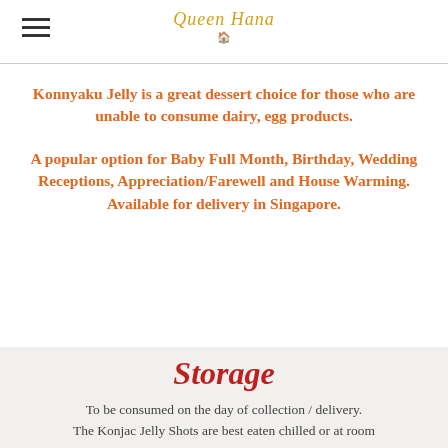Queen Hana (logo)
Konnyaku Jelly is a great dessert choice for those who are unable to consume dairy, egg products.
A popular option for Baby Full Month, Birthday, Wedding Receptions, Appreciation/Farewell and House Warming. Available for delivery in Singapore.
Storage
To be consumed on the day of collection / delivery. The Konjac Jelly Shots are best eaten chilled or at room